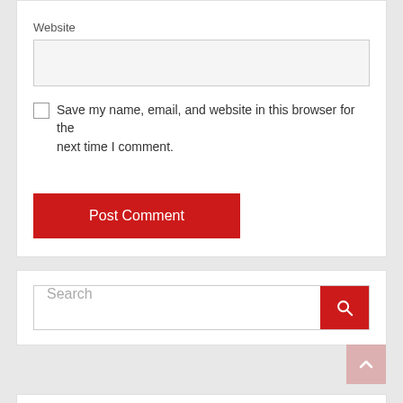Website
Save my name, email, and website in this browser for the next time I comment.
Post Comment
Search
Recent Posts